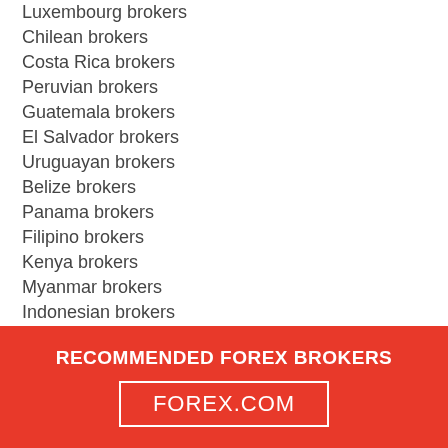Luxembourg brokers
Chilean brokers
Costa Rica brokers
Peruvian brokers
Guatemala brokers
El Salvador brokers
Uruguayan brokers
Belize brokers
Panama brokers
Filipino brokers
Kenya brokers
Myanmar brokers
Indonesian brokers
Indian Brokers
Sri Lanka brokers
Thai Brokers
Chinese Brokers
Egyptian brokers
UAE Brokers
Saudi Arabia brokers
RECOMMENDED FOREX BROKERS FOREX.COM